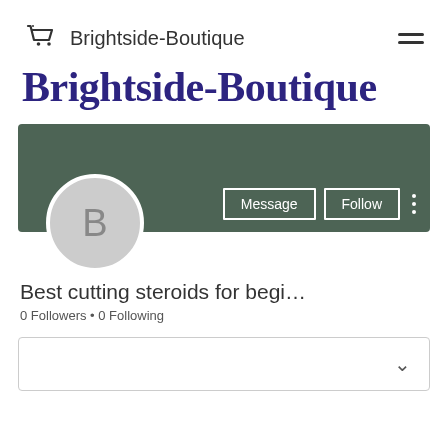Brightside-Boutique
Brightside-Boutique
[Figure (screenshot): Profile banner with sage green background showing Message and Follow buttons, avatar circle with letter B, profile tagline 'Best cutting steroids for begi...', 0 Followers • 0 Following, and a collapsed content box with chevron.]